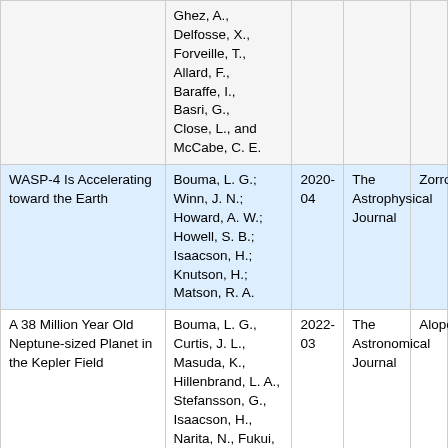| Title | Authors | Date | Journal | Instrument |
| --- | --- | --- | --- | --- |
|  | Ghez, A., Delfosse, X., Forveille, T., Allard, F., Baraffe, I., Basri, G., Close, L., and McCabe, C. E. |  |  |  |
| WASP-4 Is Accelerating toward the Earth | Bouma, L. G.; Winn, J. N.; Howard, A. W.; Howell, S. B.; Isaacson, H.; Knutson, H.; Matson, R. A. | 2020-04 | The Astrophysical Journal | Zorro |
| A 38 Million Year Old Neptune-sized Planet in the Kepler Field | Bouma, L. G., Curtis, J. L., Masuda, K., Hillenbrand, L. A., Stefansson, G., Isaacson, H., Narita, N., Fukui, A., Ikoma, M., | 2022-03 | The Astronomical Journal | Alopeke |